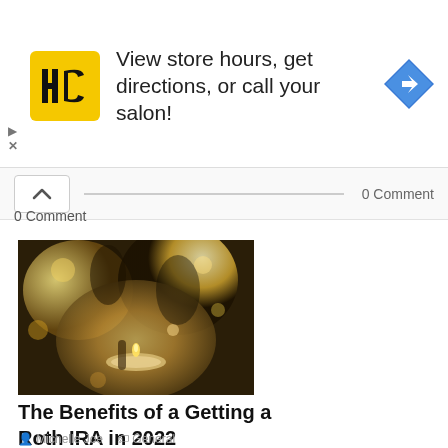[Figure (infographic): Advertisement banner: HC salon logo (yellow square with HC letters), text 'View store hours, get directions, or call your salon!', blue diamond navigation arrow icon on right. Play and X controls at bottom left.]
0 Comment
0 Comment
[Figure (photo): Gold and silver decorative glassware, candles, and ornaments with warm bokeh lighting.]
The Benefits of a Getting a Roth IRA in 2022
Michelle Joe   General